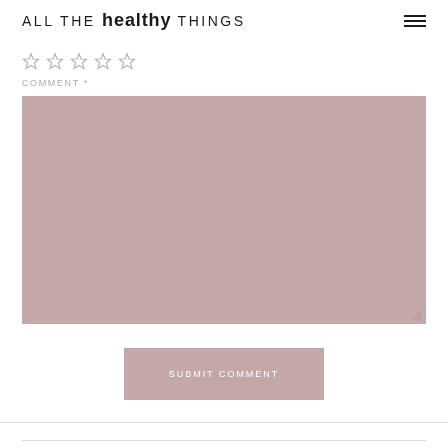ALL THE healthy THINGS
[Figure (other): Five empty star rating icons in a row]
COMMENT *
[Figure (other): Large mauve/dusty rose colored comment textarea input box]
SUBMIT COMMENT